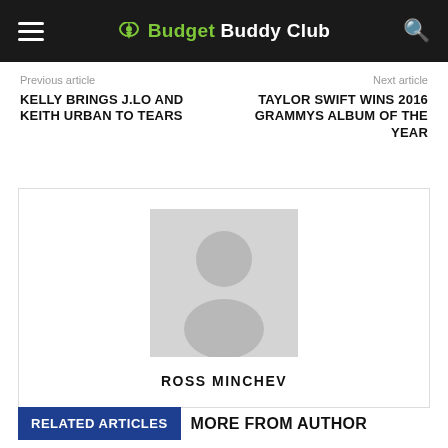Budget Buddy Club
Previous article
Next article
KELLY BRINGS J.LO AND KEITH URBAN TO TEARS
TAYLOR SWIFT WINS 2016 GRAMMYS ALBUM OF THE YEAR
[Figure (illustration): Author avatar placeholder — grey silhouette of a generic person on a light grey background]
ROSS MINCHEV
RELATED ARTICLES
MORE FROM AUTHOR